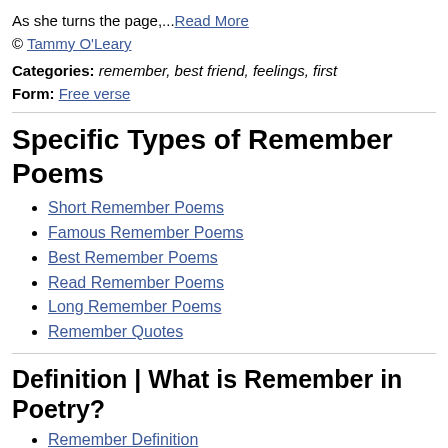As she turns the page,...Read More
© Tammy O'Leary
Categories: remember, best friend, feelings, first
Form: Free verse
Specific Types of Remember Poems
Short Remember Poems
Famous Remember Poems
Best Remember Poems
Read Remember Poems
Long Remember Poems
Remember Quotes
Definition | What is Remember in Poetry?
Remember Definition
Poems Related to Remember